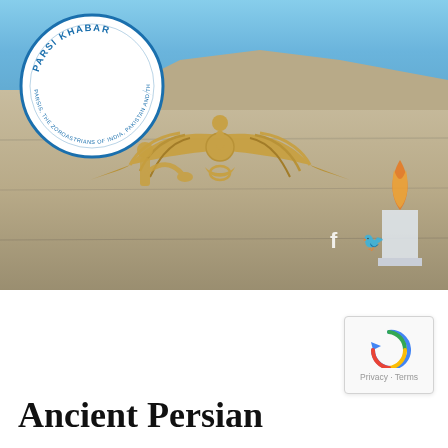[Figure (photo): Hero photograph of an ancient Persian architectural facade with golden Faravahar (Zoroastrian winged symbol) reliefs on stone walls, with blue sky background. In the top-left corner is the Parsi Khabar circular logo in blue and white — featuring a Faravahar symbol and text reading 'PARSI KHABAR' and 'PARSIS, THE ZOROASTRIANS OF INDIA, PAKISTAN AND THE WORLD'.]
[Figure (other): Google reCAPTCHA widget showing a circular arrow icon in blue/grey, with 'Privacy - Terms' text below.]
Ancient Persian